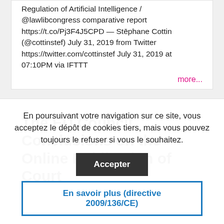Regulation of Artificial Intelligence / @lawlibcongress comparative report https://t.co/Pj3F4J5CPD — Stēphane Cottin (@cottinstef) July 31, 2019 from Twitter https://twitter.com/cottinstef July 31, 2019 at 07:10PM via IFTTT
more...
The EU Council Conclusions on the Online Publication of Court
En poursuivant votre navigation sur ce site, vous acceptez le dépôt de cookies tiers, mais vous pouvez toujours le refuser si vous le souhaitez.
Accepter
En savoir plus (directive 2009/136/CE)